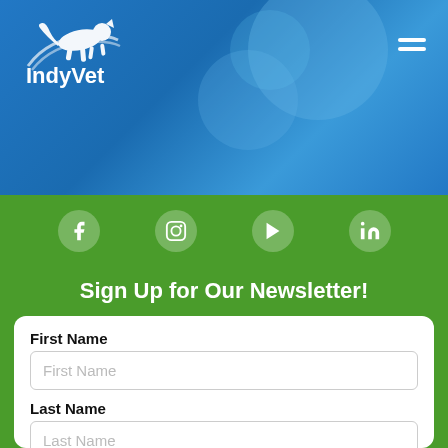[Figure (logo): IndyVet logo: white running dog/cat silhouette with decorative lines above text 'IndyVet' on blue gradient background with bokeh circles]
[Figure (infographic): Social media icons row: Facebook, Instagram, YouTube, LinkedIn — white icons on green background]
Sign Up for Our Newsletter!
First Name
Last Name
Email
Zip Code